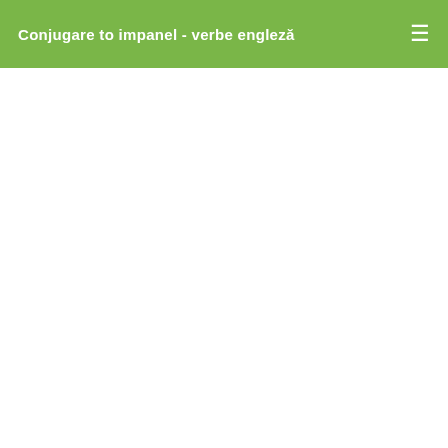Conjugare to impanel - verbe engleză